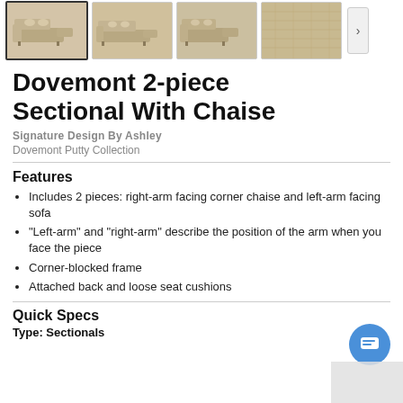[Figure (photo): Four thumbnail images of a beige/putty sectional sofa with chaise, shown from different angles. First thumbnail is selected with a border. A right-arrow navigation button appears on the far right.]
Dovemont 2-piece Sectional With Chaise
Signature Design By Ashley
Dovemont Putty Collection
Features
Includes 2 pieces: right-arm facing corner chaise and left-arm facing sofa
"Left-arm" and "right-arm" describe the position of the arm when you face the piece
Corner-blocked frame
Attached back and loose seat cushions
Quick Specs
Type: Sectionals